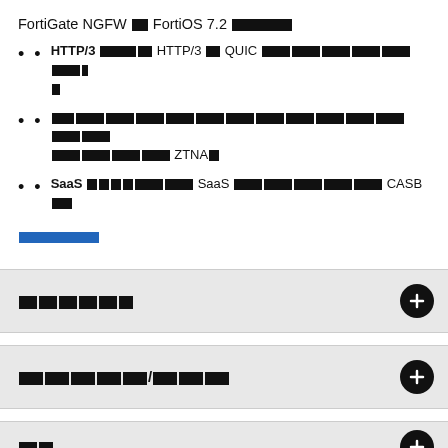FortiGate NGFW ≡ FortiOS 7.2 [redacted]
HTTP/3 [redacted] HTTP/3 [redacted] QUIC [redacted]
[redacted] ZTNA[redacted]
SaaS [redacted] SaaS [redacted] CASB [redacted]
[redacted link]
[redacted]
[redacted]/[redacted]
[redacted]